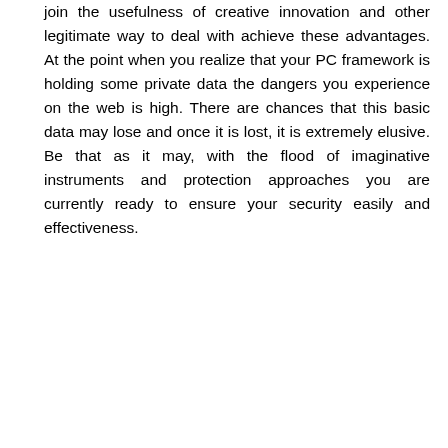join the usefulness of creative innovation and other legitimate way to deal with achieve these advantages. At the point when you realize that your PC framework is holding some private data the dangers you experience on the web is high. There are chances that this basic data may lose and once it is lost, it is extremely elusive. Be that as it may, with the flood of imaginative instruments and protection approaches you are currently ready to ensure your security easily and effectiveness.